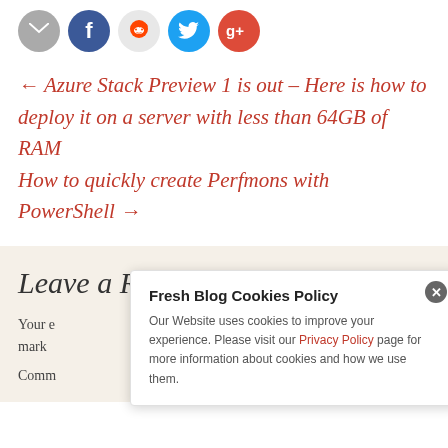[Figure (other): Social sharing icons: email (gray circle), Facebook (blue circle with f), Reddit (light circle with alien icon), Twitter (cyan circle with bird), Google+ (red circle with g+)]
← Azure Stack Preview 1 is out – Here is how to deploy it on a server with less than 64GB of RAM
How to quickly create Perfmons with PowerShell →
Leave a Reply
Your email address will not be published. Required fields are marked *
Comment *
Fresh Blog Cookies Policy
Our Website uses cookies to improve your experience. Please visit our Privacy Policy page for more information about cookies and how we use them.